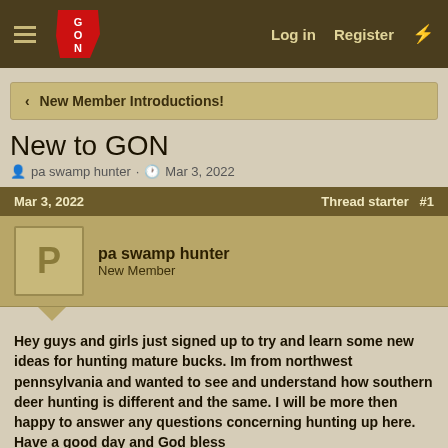GON — Log in  Register
‹  New Member Introductions!
New to GON
pa swamp hunter · Mar 3, 2022
Mar 3, 2022   Thread starter  #1
pa swamp hunter
New Member
Hey guys and girls just signed up to try and learn some new ideas for hunting mature bucks. Im from northwest pennsylvania and wanted to see and understand how southern deer hunting is different and the same. I will be more then happy to answer any questions concerning hunting up here. Have a good day and God bless
Batjack, Pig Predator, RamblinWreck88 and 2 others